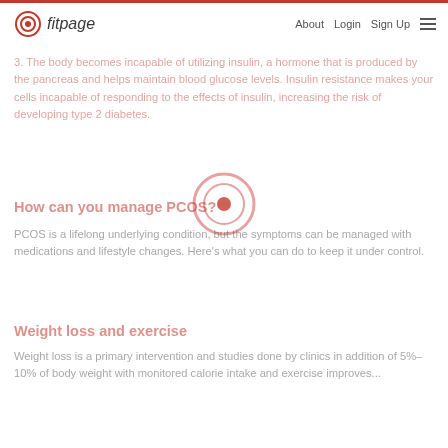fitpage | About Login Sign Up
3. The body becomes incapable of utilizing insulin, a hormone that is produced by the pancreas and helps maintain blood glucose levels. Insulin resistance makes your cells incapable of responding to the effects of insulin, increasing the risk of developing type 2 diabetes.
How can you manage PCOS?
PCOS is a lifelong underlying condition, but the symptoms can be managed with medications and lifestyle changes. Here's what you can do to keep it under control.
Weight loss and exercise
Weight loss is a primary intervention and studies done by clinics in addition of 5%-10% of body weight with monitored calorie intake and exercise improves...